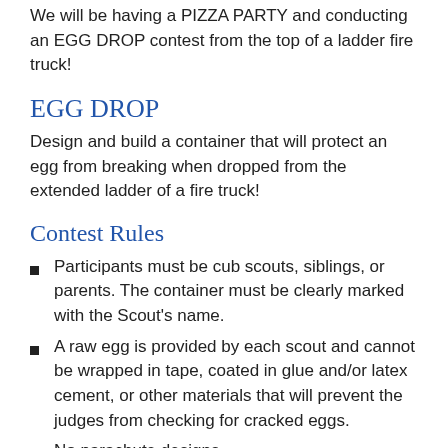We will be having a PIZZA PARTY and conducting an EGG DROP contest from the top of a ladder fire truck!
EGG DROP
Design and build a container that will protect an egg from breaking when dropped from the extended ladder of a fire truck!
Contest Rules
Participants must be cub scouts, siblings, or parents. The container must be clearly marked with the Scout's name.
A raw egg is provided by each scout and cannot be wrapped in tape, coated in glue and/or latex cement, or other materials that will prevent the judges from checking for cracked eggs.
No parachute designs.
Dropping a live chicken is not permitted! You must create your own container.